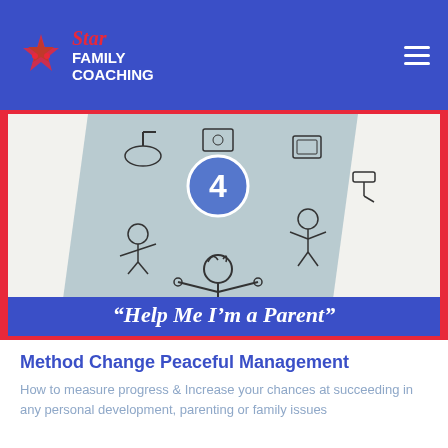Star Family Coaching
[Figure (illustration): Illustration of a woman (parent) with arms outstretched surrounded by two floating cartoon children and household objects (pan, tablet, camera, paint roller). A badge with number 4 is centered. Below the illustration is a blue banner reading: "Help Me I'm a Parent"]
Method Change Peaceful Management
How to measure progress & Increase your chances at succeeding in any personal development, parenting or family issues